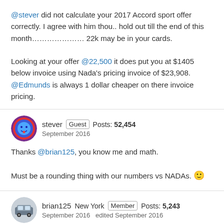@stever did not calculate your 2017 Accord sport offer correctly. I agree with him thou.. hold out till the end of this month.................. 22k may be in your cards.

Looking at your offer @22,500 it does put you at $1405 below invoice using Nada's pricing invoice of $23,908. @Edmunds is always 1 dollar cheaper on there invoice pricing.
stever Guest Posts: 52,454 September 2016
Thanks @brian125, you know me and math.

Must be a rounding thing with our numbers vs NADAs. 🙂
brian125 New York Member Posts: 5,243 September 2016 edited September 2016